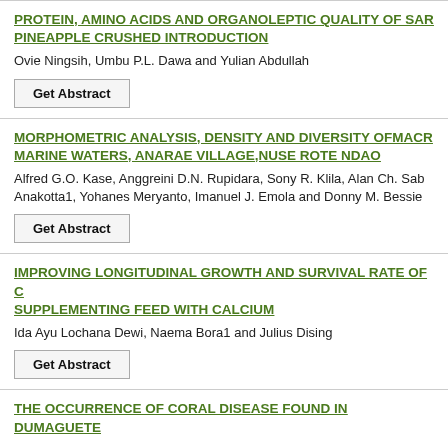PROTEIN, AMINO ACIDS AND ORGANOLEPTIC QUALITY OF SARDINE PINEAPPLE CRUSHED INTRODUCTION
Ovie Ningsih, Umbu P.L. Dawa and Yulian Abdullah
MORPHOMETRIC ANALYSIS, DENSITY AND DIVERSITY OFMACRO MARINE WATERS, ANARAE VILLAGE,NUSE ROTE NDAO
Alfred G.O. Kase, Anggreini D.N. Rupidara, Sony R. Klila, Alan Ch. Sab Anakotta1, Yohanes Meryanto, Imanuel J. Emola and Donny M. Bessie
IMPROVING LONGITUDINAL GROWTH AND SURVIVAL RATE OF C SUPPLEMENTING FEED WITH CALCIUM
Ida Ayu Lochana Dewi, Naema Bora1 and Julius Dising
THE OCCURRENCE OF CORAL DISEASE FOUND IN DUMAGUETE